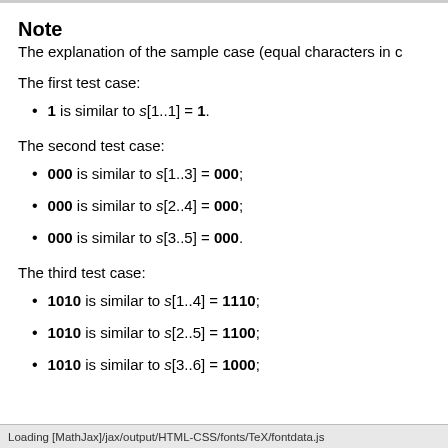Note
The explanation of the sample case (equal characters in c
The first test case:
1 is similar to s[1..1] = 1.
The second test case:
000 is similar to s[1..3] = 000;
000 is similar to s[2..4] = 000;
000 is similar to s[3..5] = 000.
The third test case:
1010 is similar to s[1..4] = 1110;
1010 is similar to s[2..5] = 1100;
1010 is similar to s[3..6] = 1000;
Loading [MathJax]/jax/output/HTML-CSS/fonts/TeX/fontdata.js